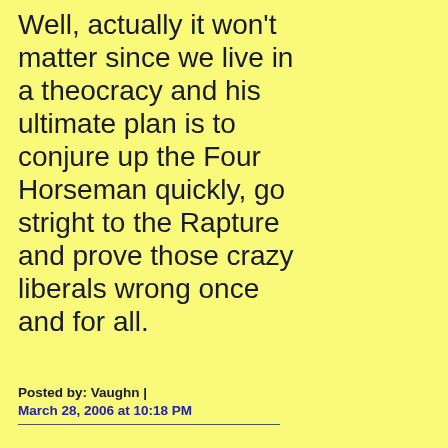Well, actually it won't matter since we live in a theocracy and his ultimate plan is to conjure up the Four Horseman quickly, go stright to the Rapture and prove those crazy liberals wrong once and for all.
Posted by: Vaughn | March 28, 2006 at 10:18 PM